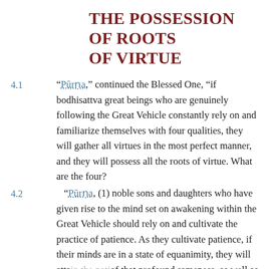THE POSSESSION OF ROOTS OF VIRTUE
4.1
“Pūrna,” continued the Blessed One, “if bodhisattva great beings who are genuinely following the Great Vehicle constantly rely on and familiarize themselves with four qualities, they will gather all virtues in the most perfect manner, and they will possess all the roots of virtue. What are the four?
4.2
“Pūrna, (1) noble sons and daughters who have given rise to the mind set on awakening within the Great Vehicle should rely on and cultivate the practice of patience. As they cultivate patience, if their minds are in a state of equanimity, they will attain the patience of that profound sameness, as well as the